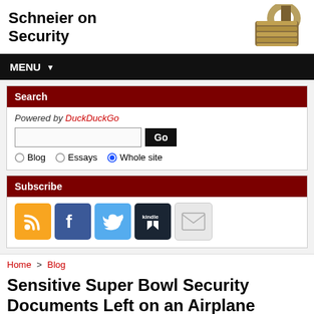Schneier on Security
MENU
Search
Powered by DuckDuckGo
Subscribe
Home > Blog
Sensitive Super Bowl Security Documents Left on an Airplane
A CNN reporter found some sensitive—but, technically, not